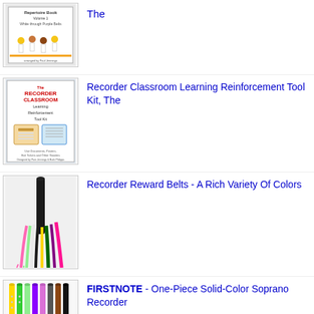[Figure (photo): Recorder Karate Repertoire Book Volume 1 White through Purple Belts cover with cartoon children playing instruments]
The
[Figure (photo): Recorder Classroom Learning Reinforcement Tool Kit book cover]
Recorder Classroom Learning Reinforcement Tool Kit, The
[Figure (photo): Recorder Reward Belts - colorful tassel belts in multiple colors]
Recorder Reward Belts - A Rich Variety Of Colors
[Figure (photo): FIRSTNOTE One-Piece Solid-Color Soprano Recorders in multiple colors]
FIRSTNOTE - One-Piece Solid-Color Soprano Recorder